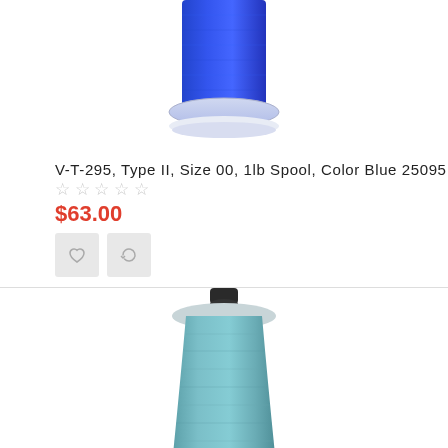[Figure (photo): Blue thread spool (cobalt blue) on a white base, partially cropped at top showing only the upper portion]
V-T-295, Type II, Size 00, 1lb Spool, Color Blue 25095
☆☆☆☆☆
$63.00
[Figure (photo): Teal/light blue-green thread spool standing upright with dark cap on white base]
V-T-295, Type II, Size 00, 1lb Spool, Color Blue 25352
☆☆☆☆☆
$63.00